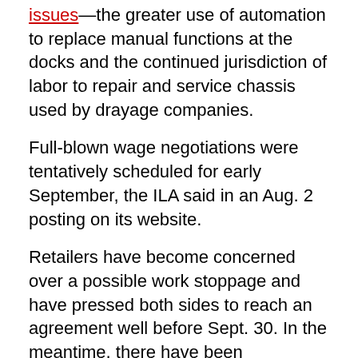issues—the greater use of automation to replace manual functions at the docks and the continued jurisdiction of labor to repair and service chassis used by drayage companies.
Full-blown wage negotiations were tentatively scheduled for early September, the ILA said in an Aug. 2 posting on its website.
Retailers have become concerned over a possible work stoppage and have pressed both sides to reach an agreement well before Sept. 30. In the meantime, there have been discussions among importers to shift cargo deliveries from East to West Coast ports to avoid any service disruptions.
U.S. retailers generally order and ship their pre-holiday goods during the mid-summer period. Although a work stoppage would not affect the bulk of holiday traffic, it would still upend the normal flow of goods entering U.S.